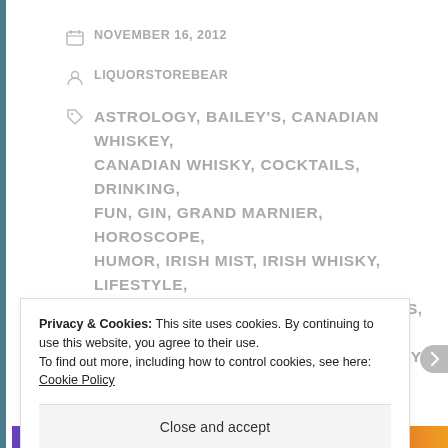NOVEMBER 16, 2012
LIQUORSTOREBEAR
ASTROLOGY, BAILEY'S, CANADIAN WHISKEY, CANADIAN WHISKY, COCKTAILS, DRINKING, FUN, GIN, GRAND MARNIER, HOROSCOPE, HUMOR, IRISH MIST, IRISH WHISKY, LIFESTYLE, LIQUOR, MIXOLOGY, PEACH SCHNAPPS, POOR ADVICE, POOR JUDGMENT, RASPBERRY LIQUEUR,
Privacy & Cookies: This site uses cookies. By continuing to use this website, you agree to their use.
To find out more, including how to control cookies, see here: Cookie Policy
Close and accept